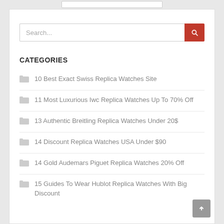[Figure (screenshot): Search bar with text input field and red search button]
CATEGORIES
10 Best Exact Swiss Replica Watches Site
11 Most Luxurious Iwc Replica Watches Up To 70% Off
13 Authentic Breitling Replica Watches Under 20$
14 Discount Replica Watches USA Under $90
14 Gold Audemars Piguet Replica Watches 20% Off
15 Guides To Wear Hublot Replica Watches With Big Discount